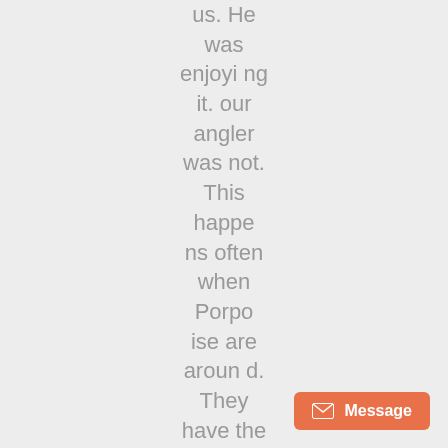us. He was enjoying it. our angler was not. This happens often when Porpoise are around. They have the ability to
[Figure (other): Orange message button with envelope icon and 'Message' label in bottom right corner]